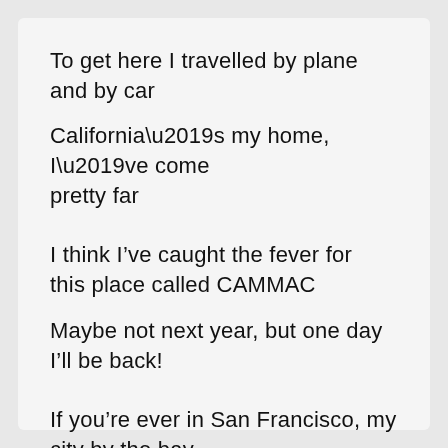To get here I travelled by plane and by car
California’s my home, I’ve come pretty far
I think I’ve caught the fever for this place called CAMMAC
Maybe not next year, but one day I’ll be back!
If you’re ever in San Francisco, my city by the bay
Give me a call, and we’ll have coffee, ay?